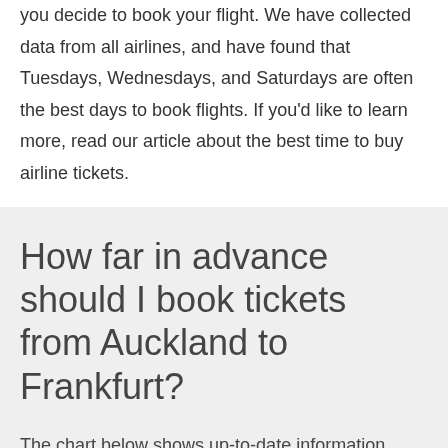you decide to book your flight. We have collected data from all airlines, and have found that Tuesdays, Wednesdays, and Saturdays are often the best days to book flights. If you'd like to learn more, read our article about the best time to buy airline tickets.
How far in advance should I book tickets from Auckland to Frankfurt?
The chart below shows up-to-date information regarding how far in advance to book your flight from Auckland to Frankfurt.